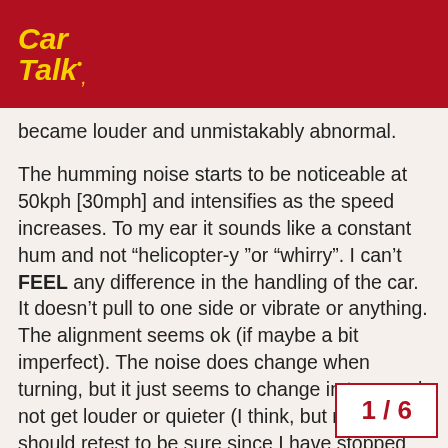Car Talk
became louder and unmistakably abnormal.
The humming noise starts to be noticeable at 50kph [30mph] and intensifies as the speed increases. To my ear it sounds like a constant hum and not “helicopter-y ”or “whirry”. I can’t FEEL any difference in the handling of the car. It doesn’t pull to one side or vibrate or anything. The alignment seems ok (if maybe a bit imperfect). The noise does change when turning, but it just seems to change in tone and not get louder or quieter (I think, but maybe should retest to be sure since I have stopped driving it just in case and feel like my memory of this is imperfect).
According to my googling this possibly sounds like a wheel bearing problem… However, I have never heard these tires on bare pavement at near recently. Winter tires are supposedly
1 / 6